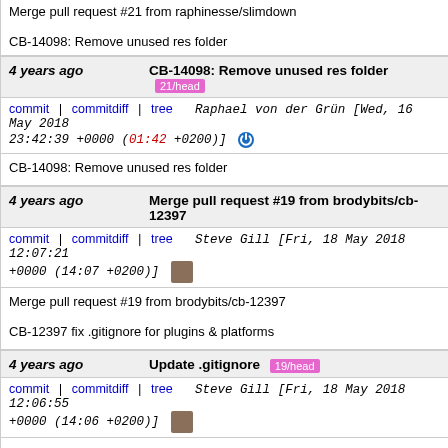Merge pull request #21 from raphinesse/slimdown
CB-14098: Remove unused res folder
4 years ago  CB-14098: Remove unused res folder  21/head
commit | commitdiff | tree  Raphael von der Grün [Wed, 16 May 2018 23:42:39 +0000 (01:42 +0200)]
CB-14098: Remove unused res folder
4 years ago  Merge pull request #19 from brodybits/cb-12397
commit | commitdiff | tree  Steve Gill [Fri, 18 May 2018 12:07:21 +0000 (14:07 +0200)]
Merge pull request #19 from brodybits/cb-12397
CB-12397 fix .gitignore for plugins & platforms
4 years ago  Update .gitignore  19/head
commit | commitdiff | tree  Steve Gill [Fri, 18 May 2018 12:06:55 +0000 (14:06 +0200)]